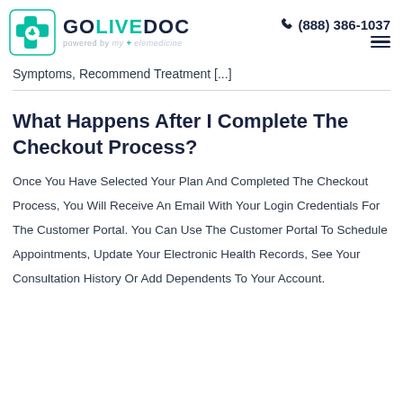GOLIVEDOC powered by my+elemedicine | (888) 386-1037
Symptoms, Recommend Treatment [...]
What Happens After I Complete The Checkout Process?
Once You Have Selected Your Plan And Completed The Checkout Process, You Will Receive An Email With Your Login Credentials For The Customer Portal. You Can Use The Customer Portal To Schedule Appointments, Update Your Electronic Health Records, See Your Consultation History Or Add Dependents To Your Account.